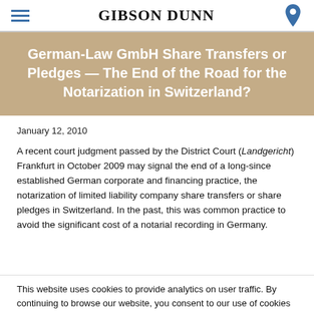GIBSON DUNN
German-Law GmbH Share Transfers or Pledges — The End of the Road for the Notarization in Switzerland?
January 12, 2010
A recent court judgment passed by the District Court (Landgericht) Frankfurt in October 2009 may signal the end of a long-since established German corporate and financing practice, the notarization of limited liability company share transfers or share pledges in Switzerland. In the past, this was common practice to avoid the significant cost of a notarial recording in Germany.
This website uses cookies to provide analytics on user traffic. By continuing to browse our website, you consent to our use of cookies